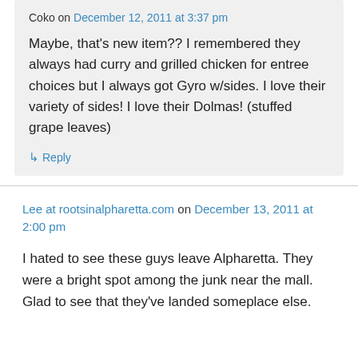Coko on December 12, 2011 at 3:37 pm
Maybe, that's new item?? I remembered they always had curry and grilled chicken for entree choices but I always got Gyro w/sides. I love their variety of sides! I love their Dolmas! (stuffed grape leaves)
↳ Reply
Lee at rootsinalpharetta.com on December 13, 2011 at 2:00 pm
I hated to see these guys leave Alpharetta. They were a bright spot among the junk near the mall. Glad to see that they've landed someplace else.